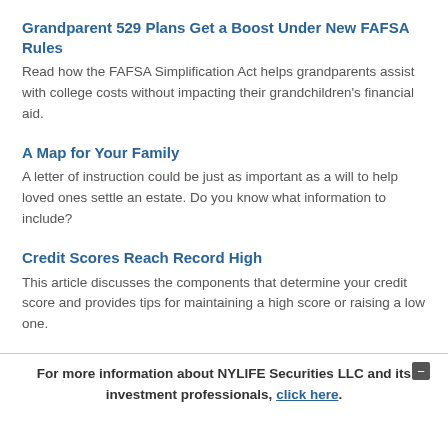Grandparent 529 Plans Get a Boost Under New FAFSA Rules
Read how the FAFSA Simplification Act helps grandparents assist with college costs without impacting their grandchildren's financial aid.
A Map for Your Family
A letter of instruction could be just as important as a will to help loved ones settle an estate. Do you know what information to include?
Credit Scores Reach Record High
This article discusses the components that determine your credit score and provides tips for maintaining a high score or raising a low one.
For more information about NYLIFE Securities LLC and its investment professionals, click here.